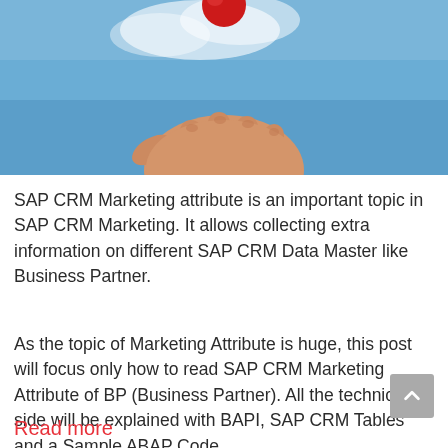[Figure (photo): A hand holding a red sphere against a blue sky background]
SAP CRM Marketing attribute is an important topic in SAP CRM Marketing. It allows collecting extra information on different SAP CRM Data Master like Business Partner.
As the topic of Marketing Attribute is huge, this post will focus only how to read SAP CRM Marketing Attribute of BP (Business Partner). All the technical side will be explained with BAPI, SAP CRM Tables and a Sample ABAP Code.
Read more